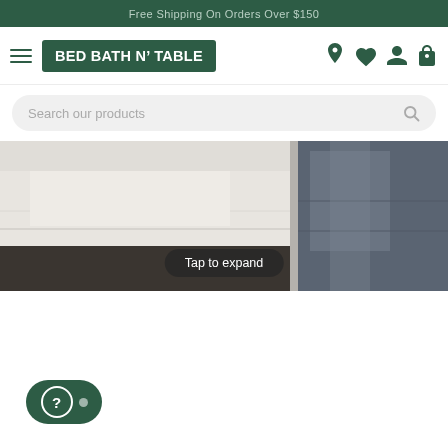Free Shipping On Orders Over $150
[Figure (screenshot): Bed Bath N' Table website navigation bar with hamburger menu, logo, location pin, heart, person, and cart icons]
Search our products
[Figure (photo): Close-up photo of white bed linen on a bed with a grey pillow visible on right side]
Tap to expand
[Figure (other): Green help/chat button with question mark circle icon in bottom left corner]